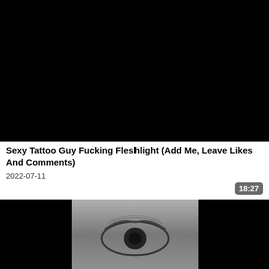[Figure (photo): Black video thumbnail placeholder]
Sexy Tattoo Guy Fucking Fleshlight (Add Me, Leave Likes And Comments)
2022-07-11
18:27
[Figure (photo): Partial thumbnail showing a close-up black and white eye, flanked by black bars on left and right]